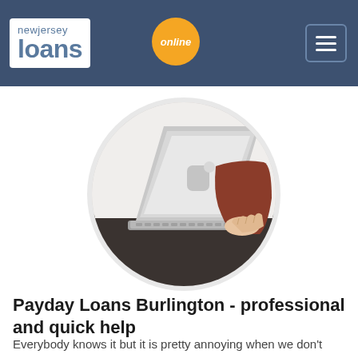newjersey loans online
[Figure (photo): Person using a laptop computer on a dark table, with a coffee cup visible. The image is cropped in a circle frame with a light gray border. The person is wearing a red/rust colored sweater and is typing on a silver laptop.]
Payday Loans Burlington - professional and quick help
Everybody knows it but it is pretty annoying when we don't have enough of savings to deal with this situations. We'll help